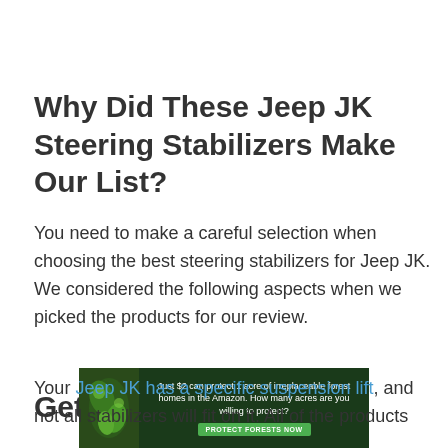Why Did These Jeep JK Steering Stabilizers Make Our List?
You need to make a careful selection when choosing the best steering stabilizers for Jeep JK. We considered the following aspects when we picked the products for our review.
Getting the Right Fit
Your Jeep JK has a specific suspension lift, and not all stabilizers will fit on it. All of the products
[Figure (infographic): Advertisement banner: dark green background with leaf/Amazon imagery on left. Text reads 'Just $2 can protect 1 acre of irreplaceable forest homes in the Amazon. How many acres are you willing to protect?' with a green 'PROTECT FORESTS NOW' button.]